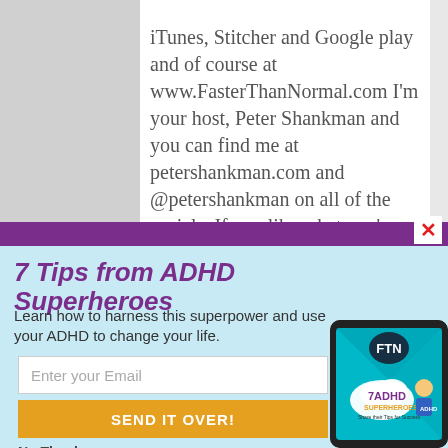iTunes, Stitcher and Google play and of course at www.FasterThanNormal.com I'm your host, Peter Shankman and you can find me at petershankman.com and @petershankman on all of the socials. If you like what you've heard, why not head over to your favorite podcast platform of choice and leave us a review, come more
7 Tips from ADHD Superheroes
Learn how to harness this superpower and use your ADHD to change your life.
Enter your Email
SEND IT OVER!
No Thanks
[Figure (illustration): Tablet device showing '7 ADHD Superheroes Share their Tips for Success' book cover with FTN logo and superhero character]